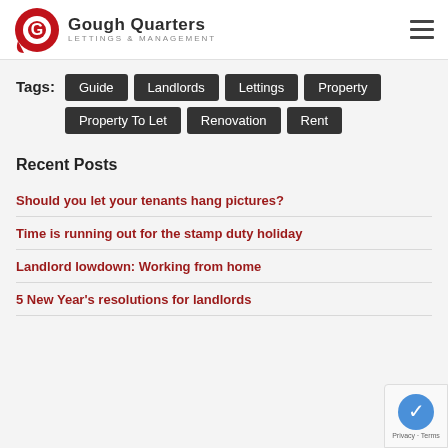Gough Quarters — Lettings & Management
Tags: Guide  Landlords  Lettings  Property  Property To Let  Renovation  Rent
Recent Posts
Should you let your tenants hang pictures?
Time is running out for the stamp duty holiday
Landlord lowdown: Working from home
5 New Year's resolutions for landlords